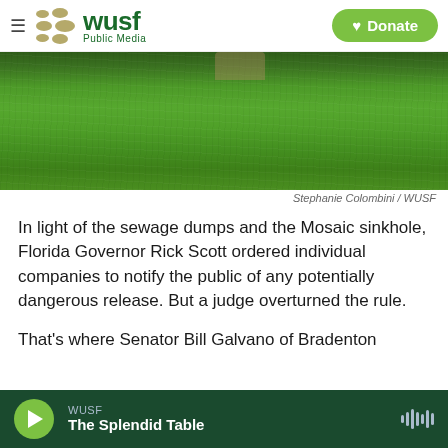[Figure (screenshot): WUSF Public Media website header with logo, hamburger menu, and Donate button]
[Figure (photo): Photograph showing green grass lawn with a person's legs/feet visible at the top edge]
Stephanie Colombini / WUSF
In light of the sewage dumps and the Mosaic sinkhole, Florida Governor Rick Scott ordered individual companies to notify the public of any potentially dangerous release. But a judge overturned the rule.
That's where Senator Bill Galvano of Bradenton
[Figure (screenshot): WUSF audio player bar at bottom showing 'The Splendid Table' with play button and audio wave icon]